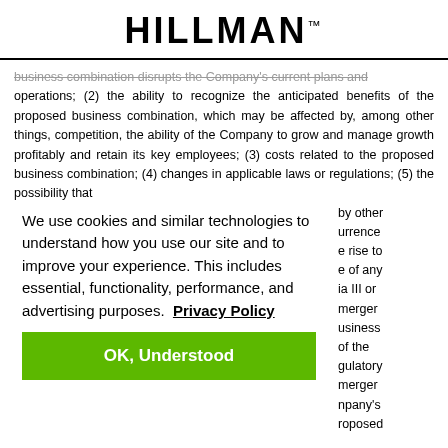HILLMAN™
business combination disrupts the Company's current plans and operations; (2) the ability to recognize the anticipated benefits of the proposed business combination, which may be affected by, among other things, competition, the ability of the Company to grow and manage growth profitably and retain its key employees; (3) costs related to the proposed business combination; (4) changes in applicable laws or regulations; (5) the possibility that
We use cookies and similar technologies to understand how you use our site and to improve your experience. This includes essential, functionality, performance, and advertising purposes.  Privacy Policy
by other urrence e rise to e of any ia III or merger usiness of the gulatory merger npany's roposed
business combination; (10) the inability to obtain or maintain the